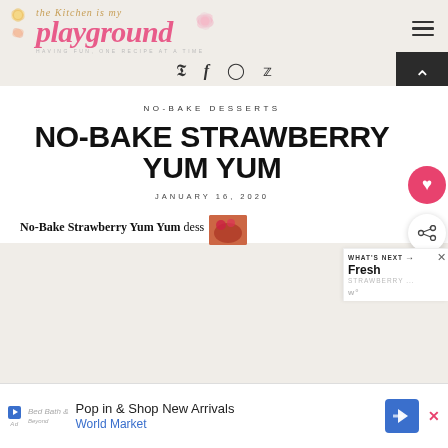the Kitchen is my playground — HAVING FUN, ONE RECIPE AT A TIME
[Figure (logo): The Kitchen is my Playground blog logo with pink text and decorative flower illustrations]
[Figure (infographic): Social media icons: Pinterest, Facebook, Instagram, Twitter]
NO-BAKE DESSERTS
NO-BAKE STRAWBERRY YUM YUM
JANUARY 16, 2020
No-Bake Strawberry Yum Yum dess...
[Figure (photo): Thumbnail image of strawberry dessert for What's Next section]
WHAT'S NEXT → Fresh [STRAWBERRY...]
[Figure (infographic): Advertisement: Pop in & Shop New Arrivals - World Market with navigation arrow icon]